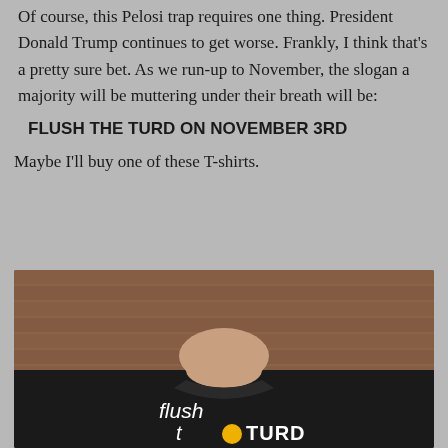Of course, this Pelosi trap requires one thing. President Donald Trump continues to get worse. Frankly, I think that's a pretty sure bet. As we run-up to November, the slogan a majority will be muttering under their breath will be:
FLUSH THE TURD ON NOVEMBER 3RD
Maybe I'll buy one of these T-shirts.
[Figure (photo): A man wearing a black t-shirt with 'flush the TURD' text and graphic, standing against a brick wall background. Only the lower face, neck, and torso are visible.]